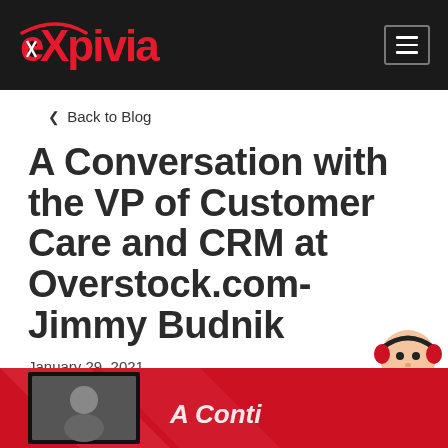expivia
‹ Back to Blog
A Conversation with the VP of Customer Care and CRM at Overstock.com- Jimmy Budnik
January 29, 2021
[Figure (illustration): Mascot character wearing headphones in bottom-right corner, and a red banner at the bottom showing a photo and partial text 'A Conti...']